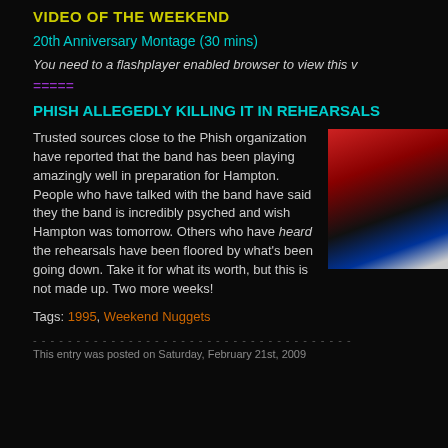VIDEO OF THE WEEKEND
20th Anniversary Montage (30 mins)
You need to a flashplayer enabled browser to view this v
=====
PHISH ALLEGEDLY KILLING IT IN REHEARSALS
Trusted sources close to the Phish organization have reported that the band has been playing amazingly well in preparation for Hampton.  People who have talked with the band have said they the band is incredibly psyched and wish Hampton was tomorrow.  Others who have heard the rehearsals have been floored by what's been going down.  Take it for what its worth, but this is not made up. Two more weeks!
[Figure (photo): Concert stage photo with red and blue stage lighting, equipment visible]
Tags: 1995, Weekend Nuggets
This entry was posted on Saturday, February 21st, 2009